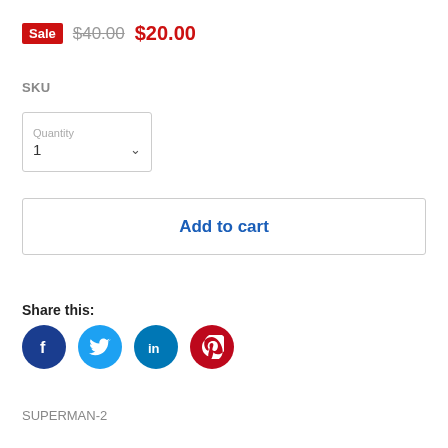Sale $40.00 $20.00
SKU
Quantity 1
Add to cart
Share this:
[Figure (illustration): Social media share icons: Facebook (blue circle with f), Twitter (light blue circle with bird), LinkedIn (dark blue circle with in), Pinterest (red circle with P)]
SUPERMAN-2